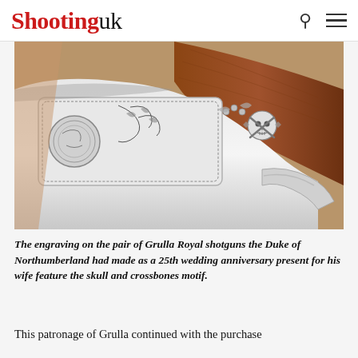Shooting uk
[Figure (photo): Close-up photograph of engraved Grulla Royal shotgun action showing intricate floral and skull-and-crossbones engraving on silver action with walnut stock]
The engraving on the pair of Grulla Royal shotguns the Duke of Northumberland had made as a 25th wedding anniversary present for his wife feature the skull and crossbones motif.
This patronage of Grulla continued with the purchase